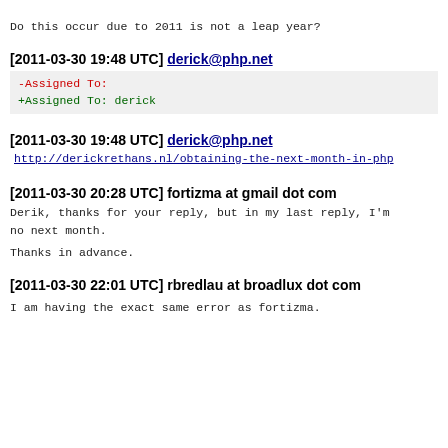Do this occur due to 2011 is not a leap year?
[2011-03-30 19:48 UTC] derick@php.net
-Assigned To:
+Assigned To: derick
[2011-03-30 19:48 UTC] derick@php.net
http://derickrethans.nl/obtaining-the-next-month-in-php
[2011-03-30 20:28 UTC] fortizma at gmail dot com
Derik, thanks for your reply, but in my last reply, I'm
no next month.

Thanks in advance.
[2011-03-30 22:01 UTC] rbredlau at broadlux dot com
I am having the exact same error as fortizma.